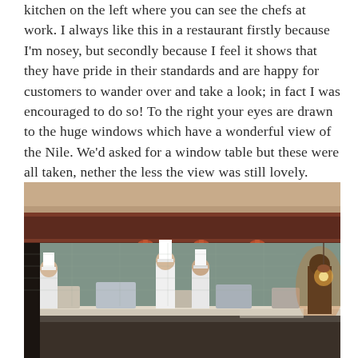kitchen on the left where you can see the chefs at work. I always like this in a restaurant firstly because I'm nosey, but secondly because I feel it shows that they have pride in their standards and are happy for customers to wander over and take a look; in fact I was encouraged to do so! To the right your eyes are drawn to the huge windows which have a wonderful view of the Nile. We'd asked for a window table but these were all taken, nether the less the view was still lovely.
[Figure (photo): Interior photo of a restaurant open kitchen showing chefs in white uniforms and toques working at the kitchen counter. The kitchen has warm reddish-brown wooden overhead cabinetry with pendant lights underneath, decorative tiled backsplash, and various kitchen equipment. The scene is warmly lit with ambient lighting on the right side.]